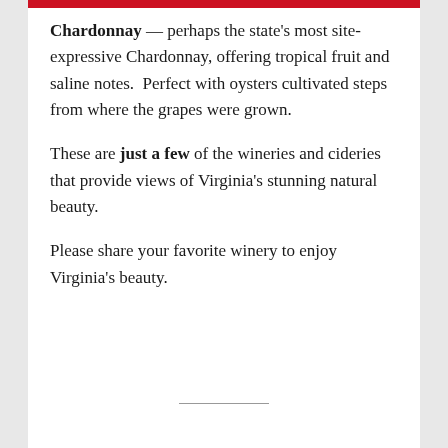Chardonnay — perhaps the state's most site-expressive Chardonnay, offering tropical fruit and saline notes.  Perfect with oysters cultivated steps from where the grapes were grown.
These are just a few of the wineries and cideries that provide views of Virginia's stunning natural beauty.
Please share your favorite winery to enjoy Virginia's beauty.